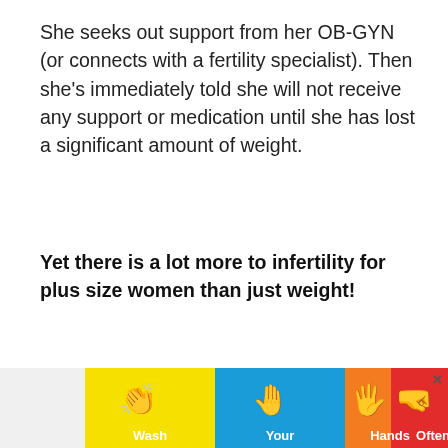She seeks out support from her OB-GYN (or connects with a fertility specialist). Then she's immediately told she will not receive any support or medication until she has lost a significant amount of weight.
Yet there is a lot more to infertility for plus size women than just weight!
Dr. Morgan Sheridan, a chiropractor in Colorado. She joins the blog to talk about her approach to fertility by looking at the woman as a whole – not just her weight.
[Figure (infographic): Advertisement banner showing 'Wash Your Hands Often' with hand-washing emoji icons on colored background sections (yellow, blue, orange, red) with a close button.]